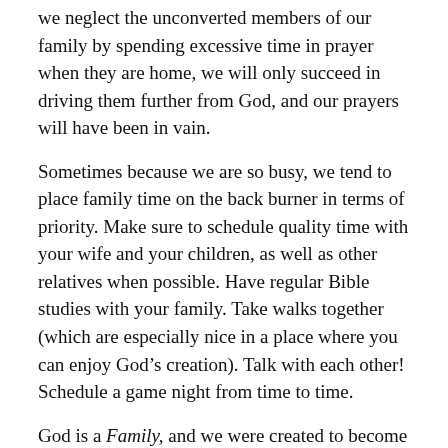we neglect the unconverted members of our family by spending excessive time in prayer when they are home, we will only succeed in driving them further from God, and our prayers will have been in vain.
Sometimes because we are so busy, we tend to place family time on the back burner in terms of priority. Make sure to schedule quality time with your wife and your children, as well as other relatives when possible. Have regular Bible studies with your family. Take walks together (which are especially nice in a place where you can enjoy God’s creation). Talk with each other! Schedule a game night from time to time.
God is a Family, and we were created to become part of that divine Family. God desires that we ultimately become unified in a close family relationship with Him. That is why He made us as social beings.
How much of a priority is family time in your life?